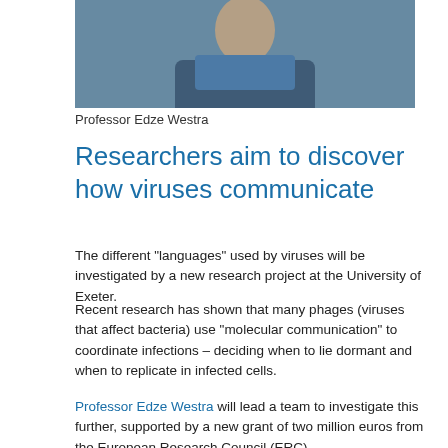[Figure (photo): Photograph of Professor Edze Westra, a man in a blue shirt and dark jacket, outdoors with green foliage in the background]
Professor Edze Westra
Researchers aim to discover how viruses communicate
The different "languages" used by viruses will be investigated by a new research project at the University of Exeter.
Recent research has shown that many phages (viruses that affect bacteria) use "molecular communication" to coordinate infections – deciding when to lie dormant and when to replicate in infected cells.
Professor Edze Westra will lead a team to investigate this further, supported by a new grant of two million euros from the European Research Council (ERC).
Phages are the most abundant biological entities on Earth, and phage therapy offers a promising alternative to antibiotics.
"I am absolutely delighted that my ERC Consolidator Grant